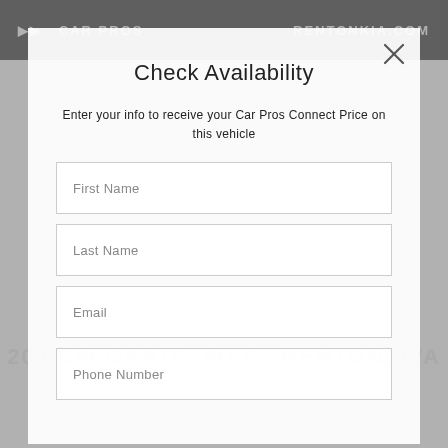[Figure (screenshot): Dark header bar with 'CAR PROS' text on left and 'RENTONKIA.COM' on right, over a blurred car dealership background image]
Check Availability
Enter your info to receive your Car Pros Connect Price on this vehicle
First Name
Last Name
Email
Phone Number